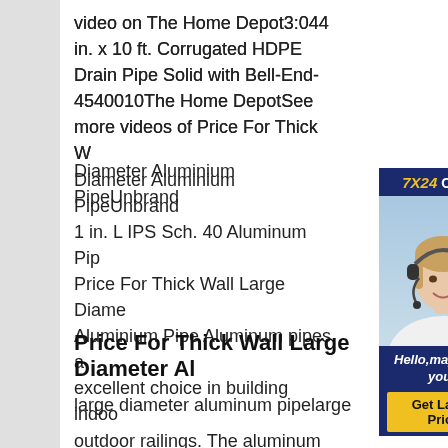video on The Home Depot3:044 in. x 10 ft. Corrugated HDPE Drain Pipe Solid with Bell-End-4540010The Home DepotSee more videos of Price For Thick Wall Large Diameter Aluminium PipeUnbranded 1 in. L IPS Sch. 40 Aluminum Pipe Price For Thick Wall Large Diameter Aluminium Pipe Aluminum pipes are an excellent choice in building indoor and outdoor railings. The aluminum is lightweight and corrosion resistant. This 8 ft. 1 in. IPS Schedule 40 pipe has an outside diameter (OD) of 1.315 in., a wall thickness of 0.113 in., and an inner diameter (ID) of 1.049 in.
[Figure (other): 7X24 Online chat widget with a customer service representative wearing a headset, navy blue background, 'Hello, may I help you?' text, and 'Get Latest Price' yellow button]
Price For Thick Wall Large Diameter Al
large diameter aluminum pipelarge